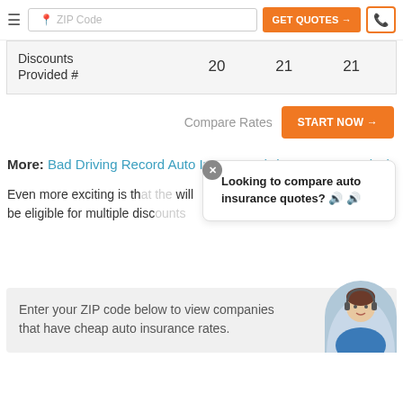ZIP Code | GET QUOTES → | [phone icon]
| Discounts Provided # | 20 | 21 | 21 |
Compare Rates  START NOW →
More: Bad Driving Record Auto Insurance (Cheap Rates & Tips)
Even more exciting is that... eligible for multiple disc...
Looking to compare auto insurance quotes? 🔊 🔊
Enter your ZIP code below to view companies that have cheap auto insurance rates.